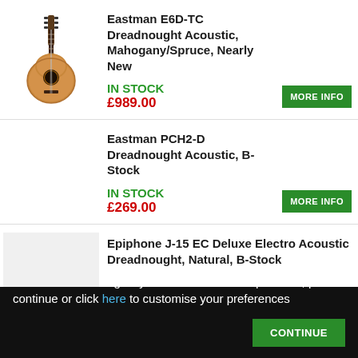[Figure (photo): Acoustic guitar product image - Eastman E6D-TC Dreadnought]
Eastman E6D-TC Dreadnought Acoustic, Mahogany/Spruce, Nearly New
IN STOCK
£989.00
MORE INFO
Eastman PCH2-D Dreadnought Acoustic, B-Stock
IN STOCK
£269.00
MORE INFO
Epiphone J-15 EC Deluxe Electro Acoustic Dreadnought, Natural, B-Stock
Cookies
We use cookies to give you the best online experience, please continue or click here to customise your preferences
CONTINUE